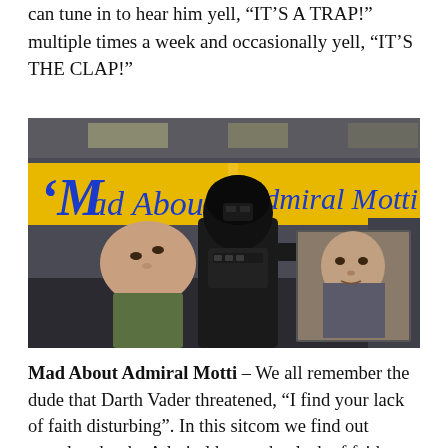can tune in to hear him yell, “IT’S A TRAP!” multiple times a week and occasionally yell, “IT’S THE CLAP!”
[Figure (screenshot): A Star Wars scene showing Darth Vader force-choking an Imperial officer (Admiral Motti), with a TV show logo overlay reading 'Mad About' on the left and 'Admiral Motti' on the right in a yellow banner style, and an inset photo of another character on the right side.]
Mad About Admiral Motti – We all remember the dude that Darth Vader threatened, “I find your lack of faith disturbing”. In this sitcom we find out exactly why the Admiral has such a lack of faith when we spend time in his home and learn that his wife is a real battle-axe.